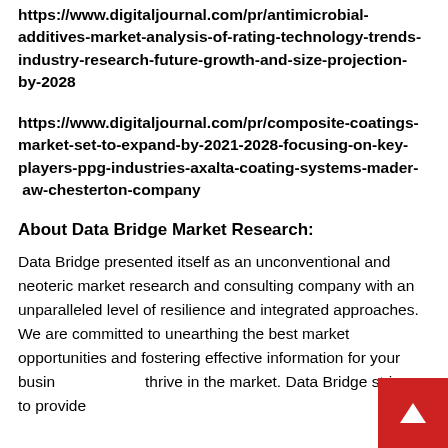https://www.digitaljournal.com/pr/antimicrobial-additives-market-analysis-of-rating-technology-trends-industry-research-future-growth-and-size-projection-by-2028
https://www.digitaljournal.com/pr/composite-coatings-market-set-to-expand-by-2021-2028-focusing-on-key-players-ppg-industries-axalta-coating-systems-mader- aw-chesterton-company
About Data Bridge Market Research:
Data Bridge presented itself as an unconventional and neoteric market research and consulting company with an unparalleled level of resilience and integrated approaches. We are committed to unearthing the best market opportunities and fostering effective information for your business to thrive in the market. Data Bridge strives to provide